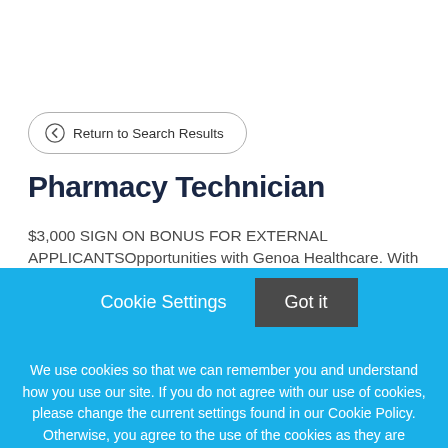Return to Search Results
Pharmacy Technician
$3,000 SIGN ON BONUS FOR EXTERNAL APPLICANTSOpportunities with Genoa Healthcare. With
Cookie Settings
Got it
We use cookies so that we can remember you and understand how you use our site. If you do not agree with our use of cookies, please change the current settings found in our Cookie Policy. Otherwise, you agree to the use of the cookies as they are currently set.